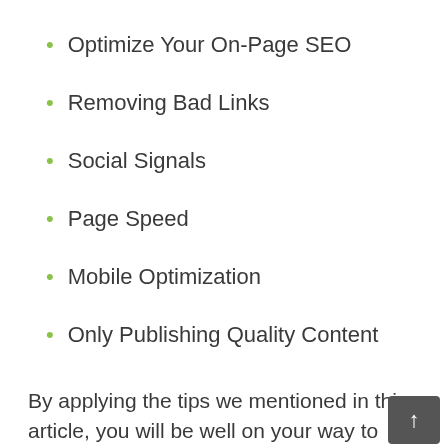Optimize Your On-Page SEO
Removing Bad Links
Social Signals
Page Speed
Mobile Optimization
Only Publishing Quality Content
By applying the tips we mentioned in this article, you will be well on your way to increasing your domain authority. Now, go out there and become an authority within your niche!